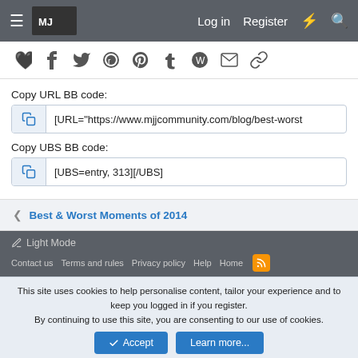Log in  Register
[Figure (screenshot): Social sharing icons: Facebook, Twitter, Reddit, Pinterest, Tumblr, WhatsApp, Email, Link]
Copy URL BB code:
[URL="https://www.mjjcommunity.com/blog/best-worst
Copy UBS BB code:
[UBS=entry, 313][/UBS]
< Best & Worst Moments of 2014
Light Mode
Contact us  Terms and rules  Privacy policy  Help  Home
This site uses cookies to help personalise content, tailor your experience and to keep you logged in if you register.
By continuing to use this site, you are consenting to our use of cookies.
Accept  Learn more...